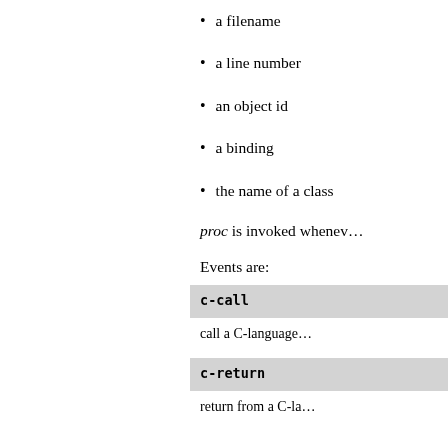a filename
a line number
an object id
a binding
the name of a class
proc is invoked whenev…
Events are:
| Event | Description |
| --- | --- |
| c-call | call a C-language… |
| c-return | return from a C-la… |